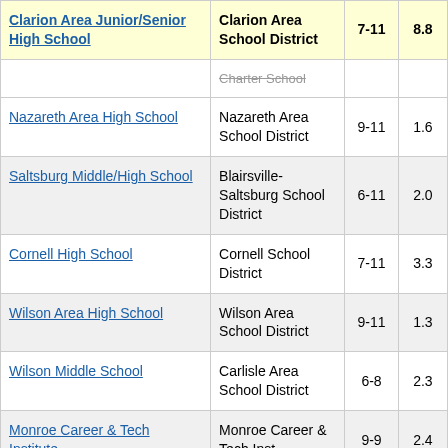| School | District | Grades | Score |
| --- | --- | --- | --- |
| Clarion Area Junior/Senior High School | Clarion Area School District | 7-11 | 8.8 |
|  | Charter School |  |  |
| Nazareth Area High School | Nazareth Area School District | 9-11 | 1.6 |
| Saltsburg Middle/High School | Blairsville-Saltsburg School District | 6-11 | 2.0 |
| Cornell High School | Cornell School District | 7-11 | 3.3 |
| Wilson Area High School | Wilson Area School District | 9-11 | 1.3 |
| Wilson Middle School | Carlisle Area School District | 6-8 | 2.3 |
| Monroe Career & Tech Institute | Monroe Career & Tech Inst | 9-9 | 2.4 |
|  | Rose Tree |  |  |